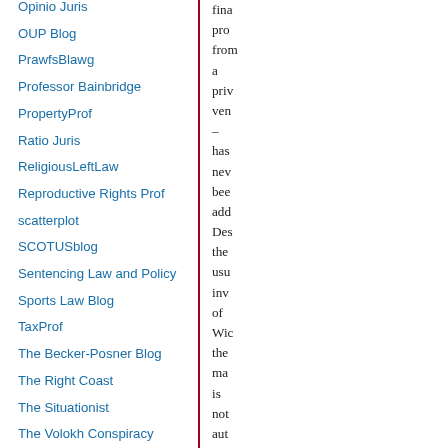Opinio Juris
OUP Blog
PrawfsBlawg
Professor Bainbridge
PropertyProf
Ratio Juris
ReligiousLeftLaw
Reproductive Rights Prof
scatterplot
SCOTUSblog
Sentencing Law and Policy
Sports Law Blog
TaxProf
The Becker-Posner Blog
The Right Coast
The Situationist
The Volokh Conspiracy
Truth on the Market
fina pro from a priv ven – has nev bee add Des the usu inv of Wic the ma is not aut con